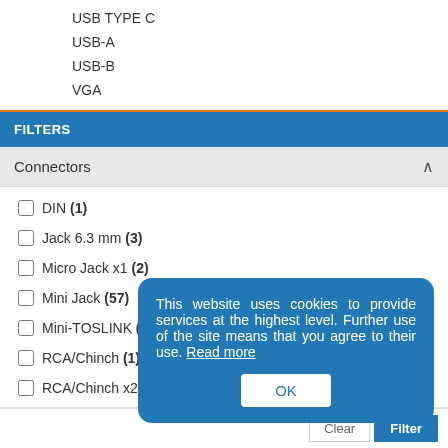USB TYPE C
USB-A
USB-B
VGA
FILTERS
Connectors
DIN (1)
Jack 6.3 mm (3)
Micro Jack x1 (2)
Mini Jack (57)
Mini-TOSLINK (1)
RCA/Chinch (1)
RCA/Chinch x2 (8)
This website uses cookies to provide services at the highest level. Further use of the site means that you agree to their use. Read more
Amount of PINs
3 (30)
4 (28)
5 (1)